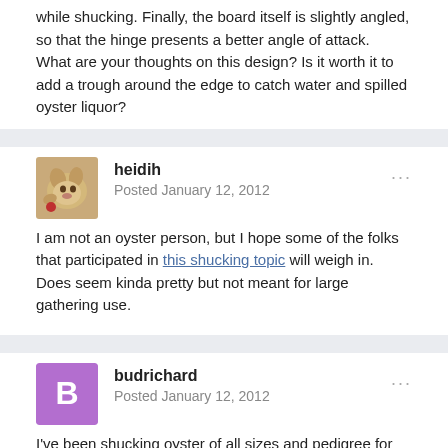while shucking. Finally, the board itself is slightly angled, so that the hinge presents a better angle of attack.
What are your thoughts on this design? Is it worth it to add a trough around the edge to catch water and spilled oyster liquor?
heidih
Posted January 12, 2012
I am not an oyster person, but I hope some of the folks that participated in this shucking topic will weigh in. Does seem kinda pretty but not meant for large gathering use.
budrichard
Posted January 12, 2012
I've been shucking oyster of all sizes and pedigree for 40+ years. What you require is a good oyster knife that you like and a mesh glove or sturdy rubber glove or gloves.